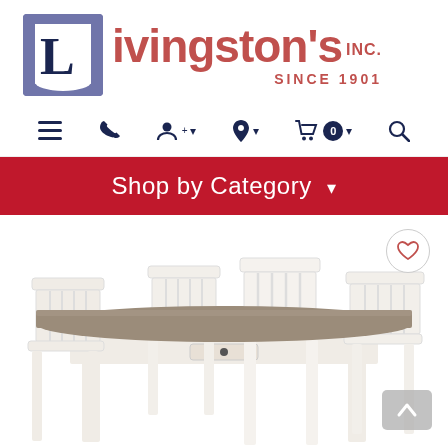[Figure (logo): Livingston's Inc. logo with stylized purple L and red text reading livingston's INC. SINCE 1901]
[Figure (screenshot): Website navigation bar with hamburger menu, phone icon, user account icon with dropdown, location icon with dropdown, shopping cart with 0 badge and dropdown, and search icon]
Shop by Category ▾
[Figure (photo): Dining room set with a farmhouse-style rectangular table with dark wood top and white/cream painted base with drawer, surrounded by four white slat-back chairs, partially cropped]